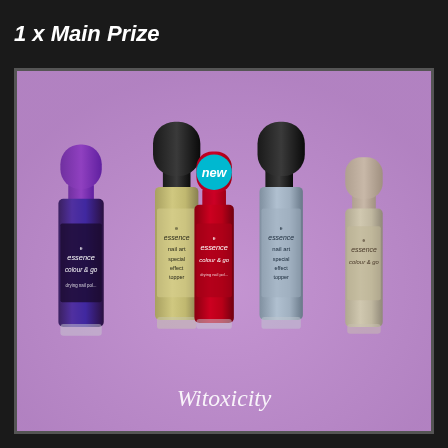1 x Main Prize
[Figure (photo): Five Essence brand nail polish bottles arranged on a purple background. Two 'colour & go' bottles (purple and red with a 'new' sticker), two 'nail art special effect topper' bottles (silver/gold glitter), and one 'colour & go' beige/nude bottle. Watermark text 'Witoxicity' at the bottom.]